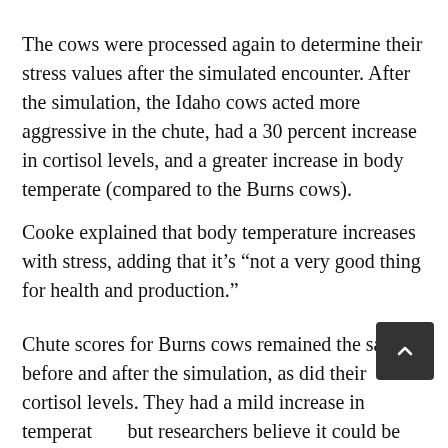The cows were processed again to determine their stress values after the simulated encounter. After the simulation, the Idaho cows acted more aggressive in the chute, had a 30 percent increase in cortisol levels, and a greater increase in body temperate (compared to the Burns cows).
Cooke explained that body temperature increases with stress, adding that it’s “not a very good thing for health and production.”
Chute scores for Burns cows remained the same before and after the simulation, as did their cortisol levels. They had a mild increase in temperature, but researchers believe it could be attributed to handling and physical activity.